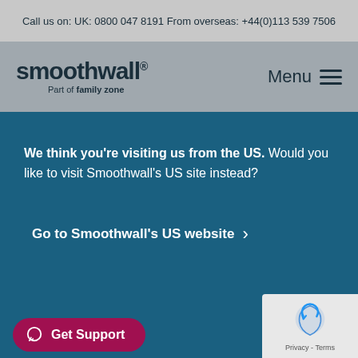Call us on: UK: 0800 047 8191 From overseas: +44(0)113 539 7506
[Figure (logo): Smoothwall logo - 'smoothwall' wordmark with registered trademark symbol, subtitle 'Part of family zone']
Menu
We think you're visiting us from the US. Would you like to visit Smoothwall's US site instead?
Go to Smoothwall's US website >
Close
[Figure (logo): 2020 award badge (black)]
[Figure (logo): Confirmed Leader 2020 badge (yellow/gold)]
[Figure (logo): Watch Foundation logo]
Get Support
[Figure (other): reCAPTCHA badge with Google reCAPTCHA logo, Privacy - Terms text]